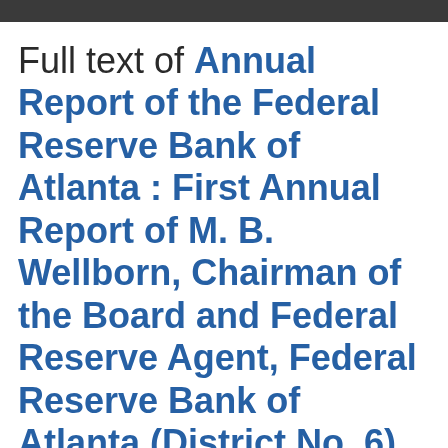Full text of Annual Report of the Federal Reserve Bank of Atlanta : First Annual Report of M. B. Wellborn, Chairman of the Board and Federal Reserve Agent, Federal Reserve Bank of Atlanta (District No. 6), to the Federal Reserve Board, Washington, D. C.